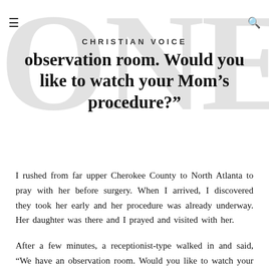CHRISTIAN VOICE
observation room. Would you like to watch your Mom’s procedure?”
I rushed from far upper Cherokee County to North Atlanta to pray with her before surgery. When I arrived, I discovered they took her early and her procedure was already underway. Her daughter was there and I prayed and visited with her.
After a few minutes, a receptionist-type walked in and said, “We have an observation room. Would you like to watch your Mom’s procedure?”